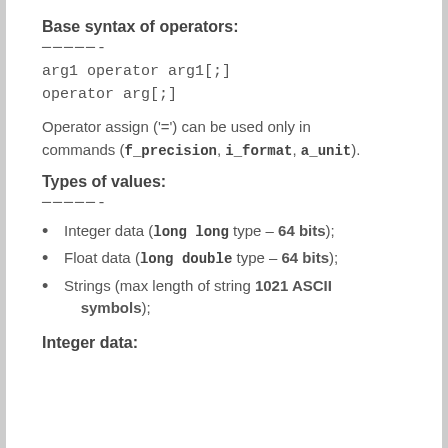Base syntax of operators:
─────-
arg1 operator arg1[;]
operator arg[;]
Operator assign ('=') can be used only in commands (f_precision, i_format, a_unit).
Types of values:
─────-
Integer data (long long type – 64 bits);
Float data (long double type – 64 bits);
Strings (max length of string 1021 ASCII symbols);
Integer data: